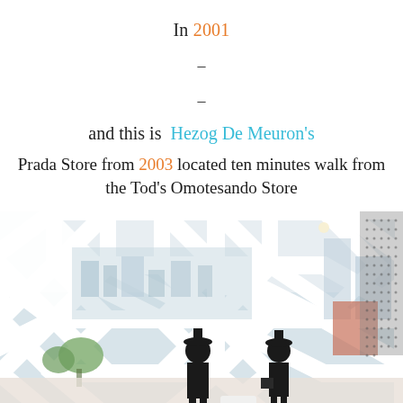In 2001
–
–
and this is  Hezog De Meuron's
Prada Store from 2003 located ten minutes walk from the Tod's Omotesando Store
[Figure (photo): Interior of Prada Store Tokyo by Herzog De Meuron showing distinctive diamond-lattice facade structure with mannequins dressed in black inside the store and cityscape visible through the geometric glass panels.]